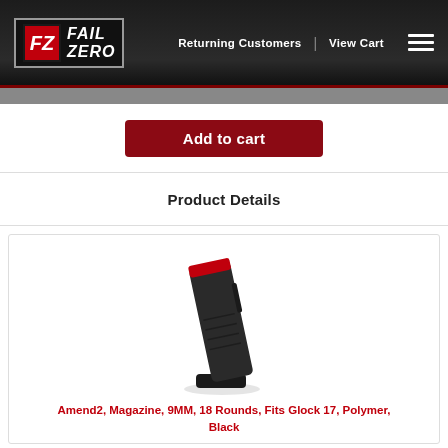[Figure (logo): FailZero logo: red and grey FZ icon with FAIL ZERO text, in a rectangular border on a dark background header]
Returning Customers | View Cart
Add to cart
Product Details
[Figure (photo): Photo of a black polymer pistol magazine (Amend2, 9MM, 18 rounds, for Glock 17) with a red follower visible at the top, tilted at an angle against a white background]
Amend2, Magazine, 9MM, 18 Rounds, Fits Glock 17, Polymer, Black